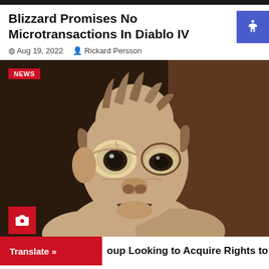Blizzard Promises No Microtransactions In Diablo IV
Aug 19, 2022  Rickard Persson
[Figure (photo): Close-up CGI render of Gollum character from Lord of the Rings, with large eyes, gaunt face, and open mouth showing teeth, against dark background. Has NEWS badge top-left and camera icon bottom-left.]
Translate »  up Looking to Acquire Rights to